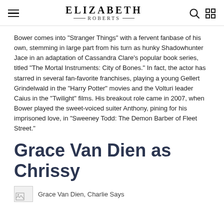ELIZABETH ROBERTS
Bower comes into "Stranger Things" with a fervent fanbase of his own, stemming in large part from his turn as hunky Shadowhunter Jace in an adaptation of Cassandra Clare's popular book series, titled "The Mortal Instruments: City of Bones." In fact, the actor has starred in several fan-favorite franchises, playing a young Gellert Grindelwald in the "Harry Potter" movies and the Volturi leader Caius in the "Twilight" films. His breakout role came in 2007, when Bower played the sweet-voiced suiter Anthony, pining for his imprisoned love, in "Sweeney Todd: The Demon Barber of Fleet Street."
Grace Van Dien as Chrissy
Grace Van Dien, Charlie Says